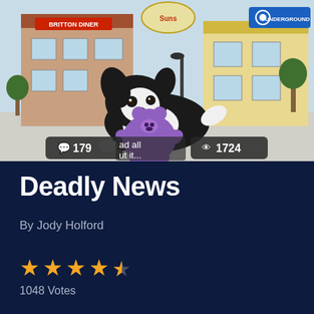[Figure (illustration): Animated illustration of a black and white puppy hugging a purple stuffed bear toy, set against a cartoon town street background with shops including 'Britton Diner' and an 'Underground' sign. The image has two badges overlaid: a comment count badge showing 179 and a view count badge showing 1724, plus a partial text overlay reading 'ad all ut it...']
Deadly News
By Jody Holford
★★★★½
1048 Votes